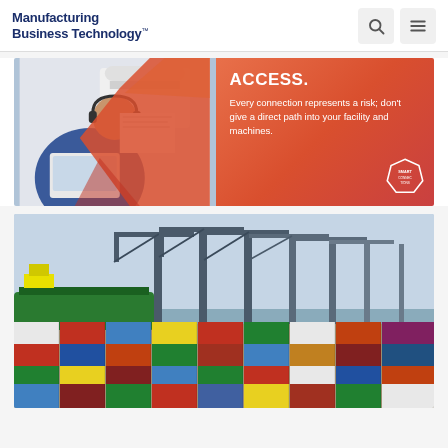Manufacturing Business Technology
[Figure (photo): Advertisement banner showing a worker using a laptop with an orange overlay panel reading ACCESS. Every connection represents a risk; don't give a direct path into your facility and machines. Smart badge logo bottom right.]
[Figure (photo): Aerial view of a busy shipping port with large cranes, a green cargo ship, and stacked colorful shipping containers.]